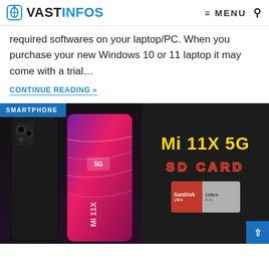VASTINFOS — MENU (search icon)
required softwares on your laptop/PC. When you purchase your new Windows 10 or 11 laptop it may come with a trial…
CONTINUE READING »
[Figure (photo): Promotional image for Mi 11X 5G smartphone showing the phone alongside a SanDisk Ultra 128GB SD card with text 'Mi 11X 5G' in yellow and 'SD CARD' in red outline lettering on a dark background.]